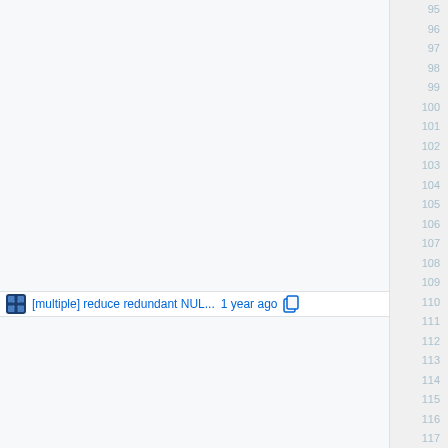[Figure (screenshot): A code browser or file viewer interface showing line numbers 95–117 on the right side gutter. At line 110, a commit row is visible showing a blue puzzle-piece icon, the text '[multiple] reduce redundant NUL...', '1 year ago', and a copy icon. The rest of the lines are empty/blank content.]